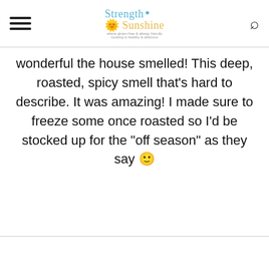Strength & Sunshine — where gluten-free & allergy-friendly cooking is healthy & delicious
wonderful the house smelled! This deep, roasted, spicy smell that's hard to describe. It was amazing! I made sure to freeze some once roasted so I'd be stocked up for the "off season" as they say 🙂